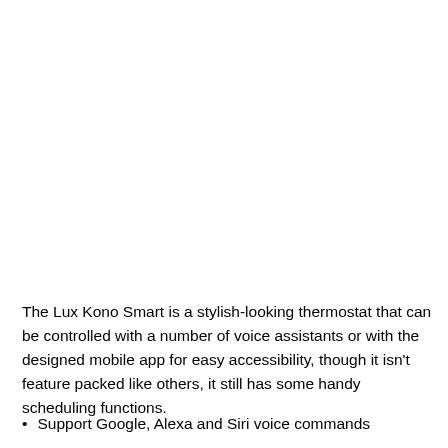The Lux Kono Smart is a stylish-looking thermostat that can be controlled with a number of voice assistants or with the designed mobile app for easy accessibility, though it isn't feature packed like others, it still has some handy scheduling functions.
Support Google, Alexa and Siri voice commands